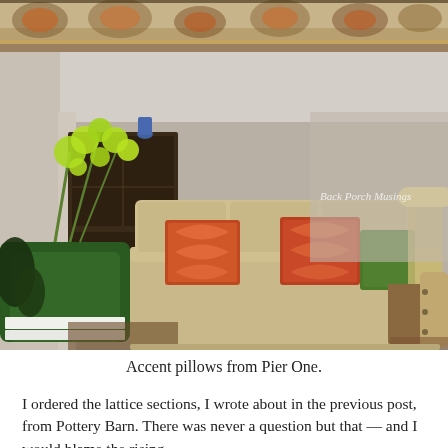[Figure (photo): Top portion of a decorative fabric or valance with floral pattern in warm colors — partial view cropped at top of page.]
[Figure (photo): Interior living room photo showing a beige upholstered sofa with colorful accent pillows (orange/red ikat pattern and green solid), a green orchid plant in a green ceramic pot on a coffee table, a white bowl, a blue and white cloche, and a lamp in the background. Watermark reads 'Back Porch Musings'.]
Accent pillows from Pier One.
I ordered the lattice sections, I wrote about in the previous post, from Pottery Barn. There was never a question but that — and I would blame the rising